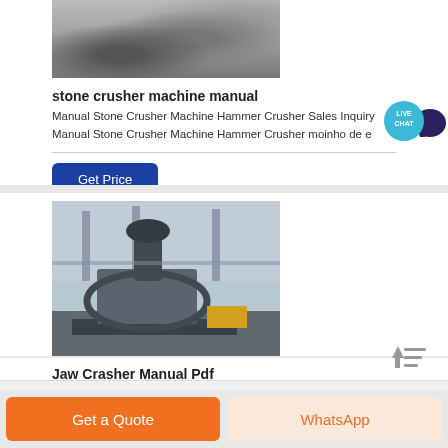[Figure (photo): Crushed stone/gravel pile photograph]
stone crusher machine manual
Manual Stone Crusher Machine Hammer Crusher Sales Inquiry Manual Stone Crusher Machine Hammer Crusher moinho de e
[Figure (photo): Industrial jaw/VSI crusher machine in a factory setting]
Jaw Crasher Manual Pdf
Get Price
Get a Quote
WhatsApp